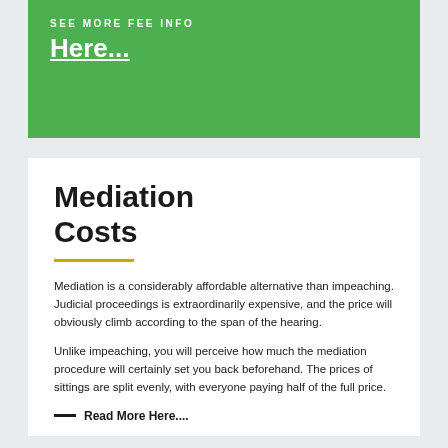SEE MORE FEE INFO
Here...
Mediation Costs
Mediation is a considerably affordable alternative than impeaching. Judicial proceedings is extraordinarily expensive, and the price will obviously climb according to the span of the hearing.
Unlike impeaching, you will perceive how much the mediation procedure will certainly set you back beforehand. The prices of sittings are split evenly, with everyone paying half of the full price.
— Read More Here....